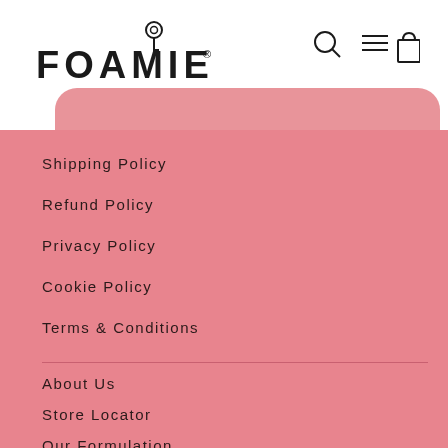FOAMIE
Shipping Policy
Refund Policy
Privacy Policy
Cookie Policy
Terms & Conditions
About Us
Store Locator
Our Formulation